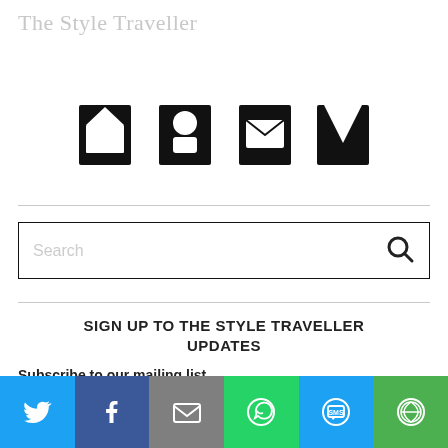The Style Traveller
[Figure (screenshot): Partial social media icon bar showing cropped icons (home, person, mail, envelope, bookmark icons in large black) — top portion cut off]
Search
SIGN UP TO THE STYLE TRAVELLER UPDATES
Subscribe to our mailing list
email address
[Figure (screenshot): Social share bar with Twitter (blue), Facebook (dark blue), Email (grey), WhatsApp (green), SMS (blue), More (green) buttons each with white icons]